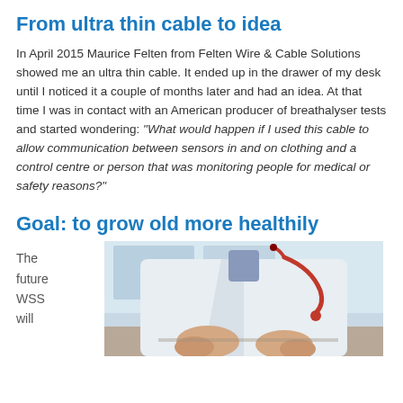From ultra thin cable to idea
In April 2015 Maurice Felten from Felten Wire & Cable Solutions showed me an ultra thin cable. It ended up in the drawer of my desk until I noticed it a couple of months later and had an idea. At that time I was in contact with an American producer of breathalyser tests and started wondering: “What would happen if I used this cable to allow communication between sensors in and on clothing and a control centre or person that was monitoring people for medical or safety reasons?”
Goal: to grow old more healthily
The future WSS will
[Figure (photo): A person in a white lab coat with a red stethoscope, sitting at a desk with hands open, medical professional setting]